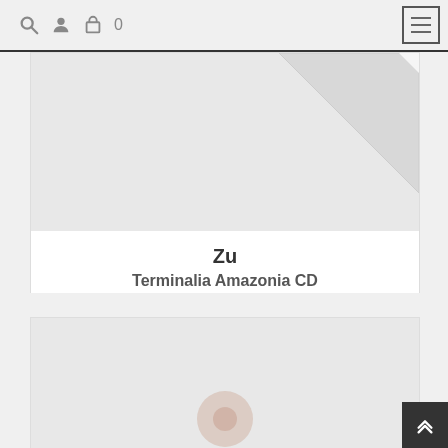Navigation bar with search, account, cart (0), and hamburger menu
[Figure (photo): Product image area showing corner of a white CD case against light grey background]
Zu
Terminalia Amazonia CD
CD
$12.99
[Figure (photo): Second product image area, light grey background with partial product image at bottom center]